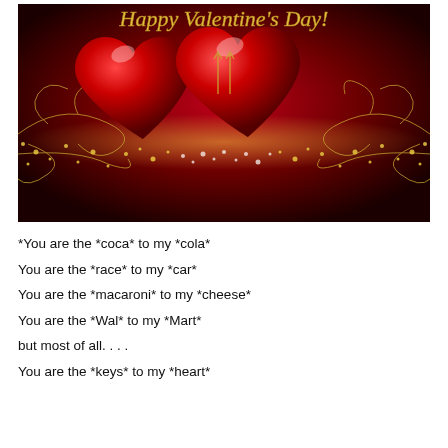[Figure (illustration): Valentine's Day greeting card image with two shiny red hearts on a dark red background with golden swirling floral patterns and glittering sparkles. Text at the top reads 'Happy Valentine's Day' in gold cursive script.]
*You are the *coca* to my *cola*
You are the *race* to my *car*
You are the *macaroni* to my *cheese*
You are the *Wal* to my *Mart*
but most of all....
You are the *keys* to my *heart*